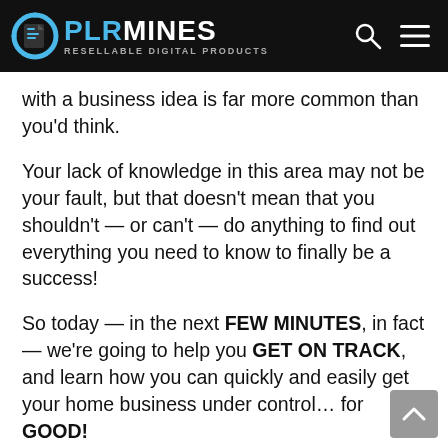PLR MINES — RESELLABLE DIGITAL PRODUCTS
with a business idea is far more common than you'd think.
Your lack of knowledge in this area may not be your fault, but that doesn't mean that you shouldn't — or can't — do anything to find out everything you need to know to finally be a success!
So today — in the next FEW MINUTES, in fact — we're going to help you GET ON TRACK, and learn how you can quickly and easily get your home business under control… for GOOD!
This powerful tool will provide you with everything